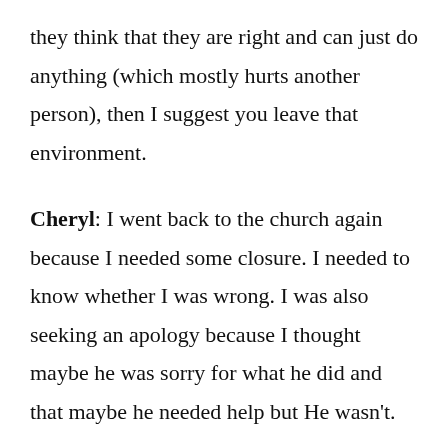they think that they are right and can just do anything (which mostly hurts another person), then I suggest you leave that environment.
Cheryl: I went back to the church again because I needed some closure. I needed to know whether I was wrong. I was also seeking an apology because I thought maybe he was sorry for what he did and that maybe he needed help but He wasn't.
Jois: There are a lot of people in abusive